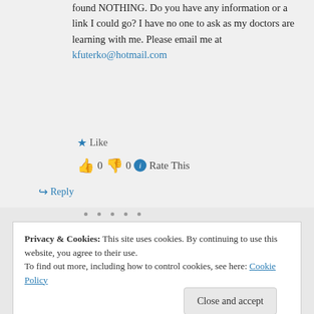found NOTHING. Do you have any information or a link I could go? I have no one to ask as my doctors are learning with me. Please email me at kfuterko@hotmail.com
Like
👍 0 👎 0 ℹ Rate This
↳ Reply
Privacy & Cookies: This site uses cookies. By continuing to use this website, you agree to their use. To find out more, including how to control cookies, see here: Cookie Policy
Close and accept